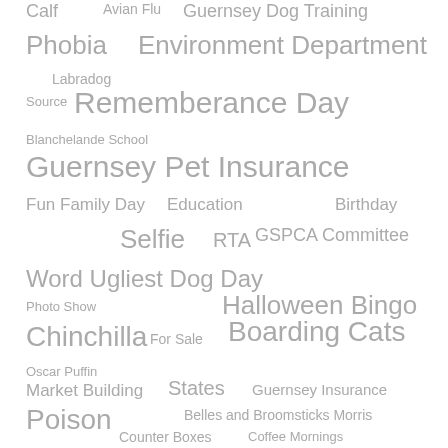[Figure (infographic): Tag cloud / word cloud with various terms related to GSPCA (Guernsey Society for the Prevention of Cruelty to Animals) and related topics. Terms appear in different sizes indicating frequency/importance, all in gray color. Terms include: Calf, Avian Flu, Guernsey Dog Training, Phobia, Environment Department, Labradog, Source, Rememberance Day, Blanchelande School, Guernsey Pet Insurance, Fun Family Day, Education, Birthday, Selfie, RTA, GSPCA Committee, Word Ugliest Dog Day, Photo Show, Halloween Bingo, Chinchilla, For Sale, Boarding Cats, Oscar Puffin, Guernsey Insurance, Market Building, States, Poison, Belles and Broomsticks Morris, Counter Boxes, Coffee Mornings, Princess of Wales, Black Cat Day, Visits, GSPCA News, Menfun, Police Witness Appeal, QEii Marina]